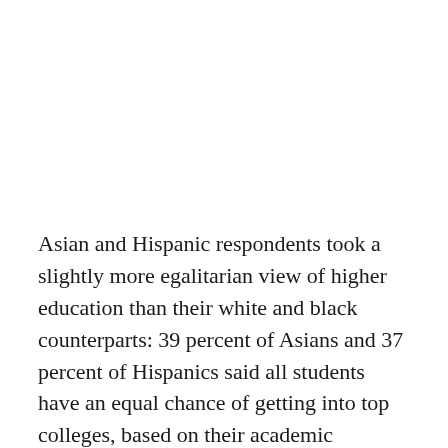Asian and Hispanic respondents took a slightly more egalitarian view of higher education than their white and black counterparts: 39 percent of Asians and 37 percent of Hispanics said all students have an equal chance of getting into top colleges, based on their academic qualifications. Black respondents were most likely to believe that admission was class-based, with 68 percent saying the admission rates are based on family income.